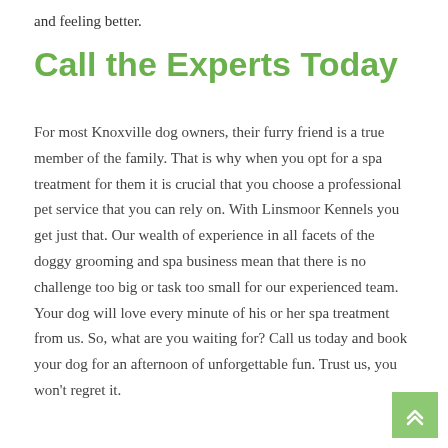and feeling better.
Call the Experts Today
For most Knoxville dog owners, their furry friend is a true member of the family. That is why when you opt for a spa treatment for them it is crucial that you choose a professional pet service that you can rely on. With Linsmoor Kennels you get just that. Our wealth of experience in all facets of the doggy grooming and spa business mean that there is no challenge too big or task too small for our experienced team. Your dog will love every minute of his or her spa treatment from us. So, what are you waiting for? Call us today and book your dog for an afternoon of unforgettable fun. Trust us, you won't regret it.